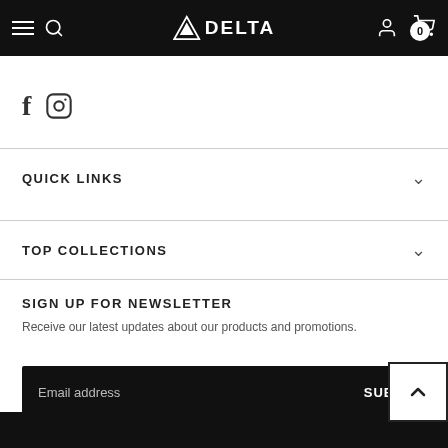Delta — navigation bar with hamburger menu, search, logo, account, and cart (0)
[Figure (illustration): Social media icons: Facebook (f) and Instagram (camera)]
QUICK LINKS
TOP COLLECTIONS
SIGN UP FOR NEWSLETTER
Receive our latest updates about our products and promotions.
Email address   SUBMIT